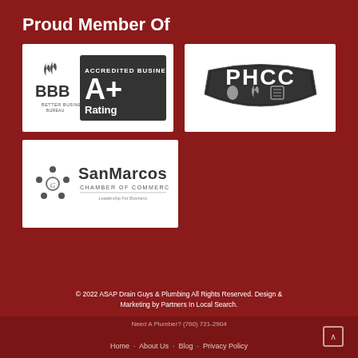Proud Member Of
[Figure (logo): BBB Accredited Business A+ Rating logo in grayscale]
[Figure (logo): PHCC (Plumbing Heating Cooling Contractors) logo in grayscale with water drop, flame, and coil icons]
[Figure (logo): San Marcos Chamber of Commerce - Leadership for Business logo in grayscale]
© 2022 ASAP Drain Guys & Plumbing All Rights Reserved. Design & Marketing by Partners In Local Search.
Home · About Us · Blog · Privacy Policy